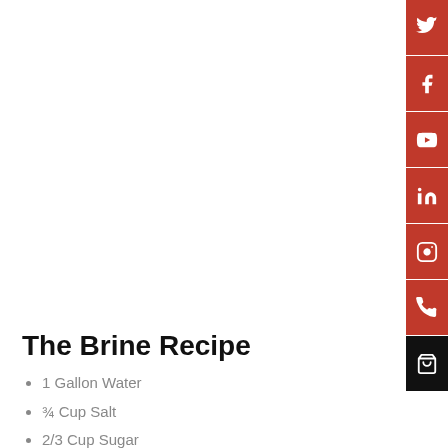The Brine Recipe
1 Gallon Water
¾ Cup Salt
2/3 Cup Sugar
Chicken Wings – separated Jumbo size Party Wing (Restaurant Depot)
The Brining Process